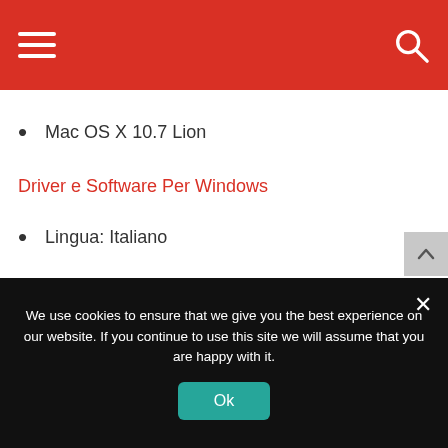Navigation header with hamburger menu and search icon
Mac OS X 10.7 Lion
Driver e Software Per Windows
Lingua: Italiano
Categoria: Driver
Produttore: Epson
Hardware: Epson Expreession XP-215
We use cookies to ensure that we give you the best experience on our website. If you continue to use this site we will assume that you are happy with it.